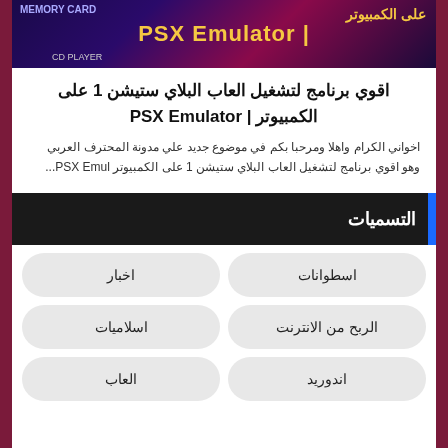[Figure (screenshot): PSX Emulator banner image with Arabic text and gaming imagery]
اقوي برنامج لتشغيل العاب البلاي ستيشن 1 على الكمبيوتر | PSX Emulator
اخواني الكرام واهلا ومرحبا بكم في موضوع جديد علي مدونة المحترف العربي وهو اقوي برنامج لتشغيل العاب البلاي ستيشن 1 على الكمبيوتر PSX Emul...
التسميات
اسطوانات
اخبار
الربح من الانترنت
اسلاميات
اندوريد
العاب